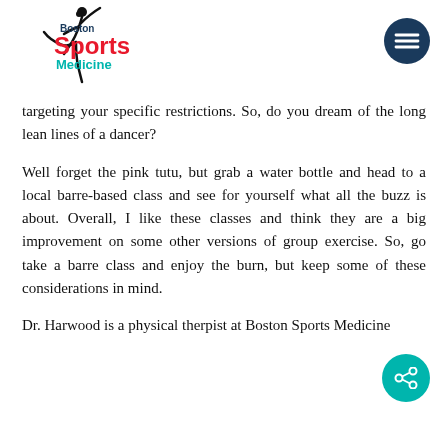[Figure (logo): Boston Sports Medicine logo with silhouette of athlete and text 'Boston Sports Medicine' in red and teal]
targeting your specific restrictions. So, do you dream of the long lean lines of a dancer?
Well forget the pink tutu, but grab a water bottle and head to a local barre-based class and see for yourself what all the buzz is about. Overall, I like these classes and think they are a big improvement on some other versions of group exercise. So, go take a barre class and enjoy the burn, but keep some of these considerations in mind.
Dr. Harwood is a physical therpist at Boston Sports Medicine